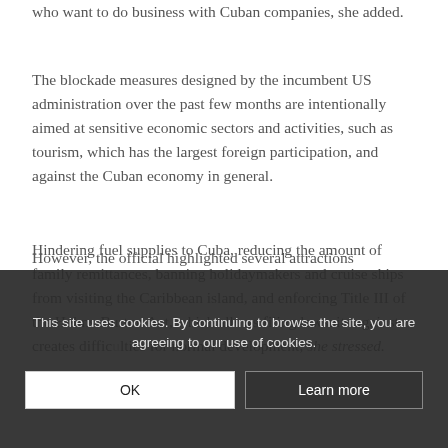who want to do business with Cuban companies, she added.
The blockade measures designed by the incumbent US administration over the past few months are intentionally aimed at sensitive economic sectors and activities, such as tourism, which has the largest foreign participation, and against the Cuban economy in general.
Hindering fuel supplies to Cuba, reducing the amount of family remittances, banning holidaymakers and cruise ships from visiting the Caribbean island, and enforcing Title III of the Helms-Burton Act, which allows filing lawsuits against creates difficulties for normal development, she stressed.
However, the official highlighted several attractions
This site uses cookies. By continuing to browse the site, you are agreeing to our use of cookies.